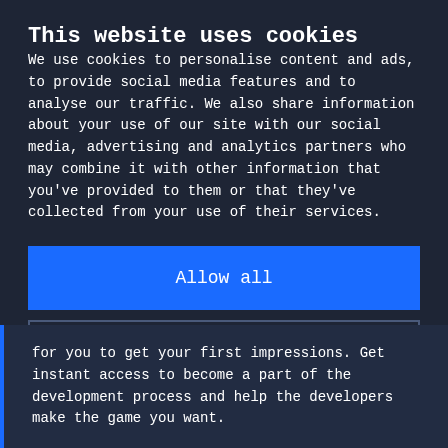This website uses cookies
We use cookies to personalise content and ads, to provide social media features and to analyse our traffic. We also share information about your use of our site with our social media, advertising and analytics partners who may combine it with other information that you've provided to them or that they've collected from your use of their services.
Allow all
Deny
Show details
for you to get your first impressions. Get instant access to become a part of the development process and help the developers make the game you want.